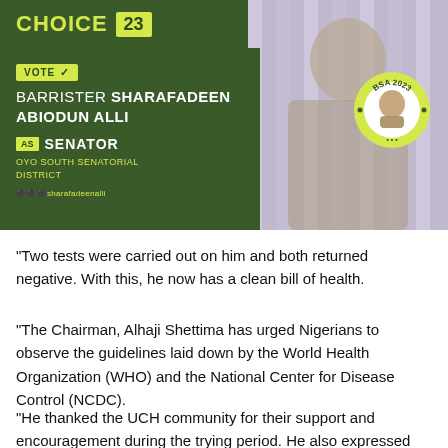[Figure (infographic): Campaign advertisement banner for Barrister Sharafadeen Abiodun Alli running for Senator of Oyo South Senatorial District in 2023. Green background with candidate photo, 'VOTE' label, candidate name, BSA 2023 circular badge, and social media handle @sharafadeenalli.]
“Two tests were carried out on him and both returned negative. With this, he now has a clean bill of health.
“The Chairman, Alhaji Shettima has urged Nigerians to observe the guidelines laid down by the World Health Organization (WHO) and the National Center for Disease Control (NCDC).
“He thanked the UCH community for their support and encouragement during the trying period. He also expressed his